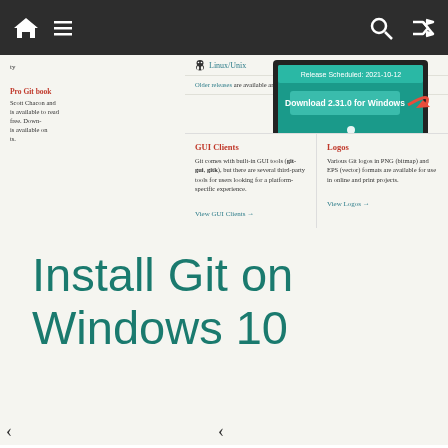Navigation bar with home, menu, search, and shuffle icons
[Figure (screenshot): Screenshot of git-scm.com website showing Linux/Unix download link, older releases text, monitor graphic with 'Download 2.31.0 for Windows' button, GUI Clients section, and Logos section]
Install Git on Windows 10